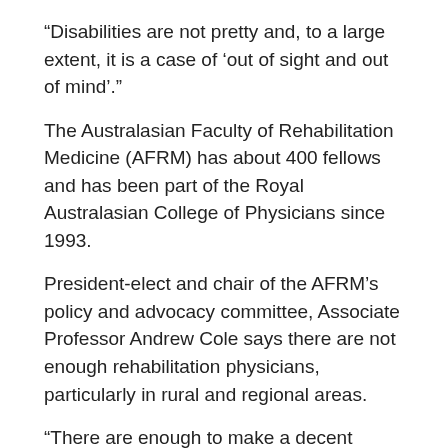“Disabilities are not pretty and, to a large extent, it is a case of ‘out of sight and out of mind’.”
The Australasian Faculty of Rehabilitation Medicine (AFRM) has about 400 fellows and has been part of the Royal Australasian College of Physicians since 1993.
President-elect and chair of the AFRM’s policy and advocacy committee, Associate Professor Andrew Cole says there are not enough rehabilitation physicians, particularly in rural and regional areas.
“There are enough to make a decent impact on those patients who are still in hospital”, Professor Cole tells the MJA. “But there are certainly not enough out there in the community.
“And, like most specialties, there are parts of the country’s rural areas where there are not enough rehab